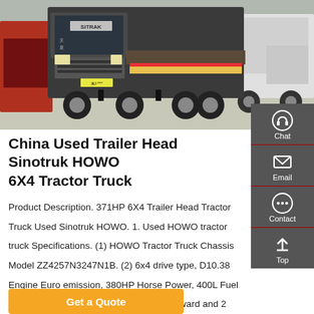[Figure (photo): Photo of a dark grey Sinotruk HOWO 6X4 tractor truck in a parking area, with other white trucks visible in the background. The truck has Chinese license plates and 'SITRAK' branding on the front.]
China Used Trailer Head Sinotruk HOWO 6X4 Tractor Truck
Product Description. 371HP 6X4 Trailer Head Tractor Truck Used Sinotruk HOWO. 1. Used HOWO tractor truck Specifications. (1) HOWO Tractor Truck Chassis Model ZZ4257N3247N1B. (2) 6x4 drive type, D10.38 Engine Euro emission, 380HP Horse Power, 400L Fuel tank. (3) HW197 gear box, 10 speeds forward and 2 reverse.